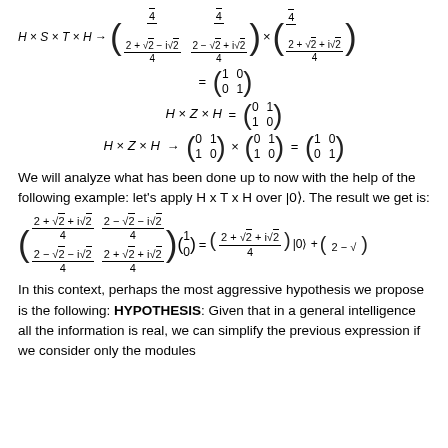We will analyze what has been done up to now with the help of the following example: let's apply H x T x H over |0⟩. The result we get is:
In this context, perhaps the most aggressive hypothesis we propose is the following: HYPOTHESIS: Given that in a general intelligence all the information is real, we can simplify the previous expression if we consider only the modules